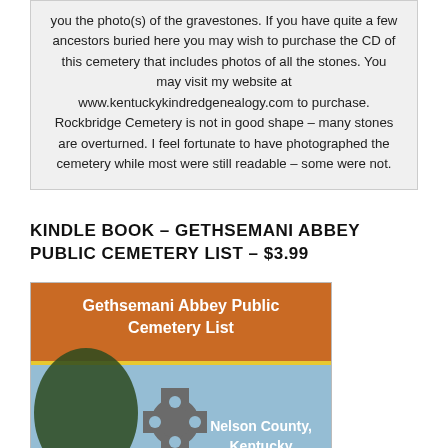you the photo(s) of the gravestones. If you have quite a few ancestors buried here you may wish to purchase the CD of this cemetery that includes photos of all the stones. You may visit my website at www.kentuckykindredgenealogy.com to purchase. Rockbridge Cemetery is not in good shape – many stones are overturned. I feel fortunate to have photographed the cemetery while most were still readable – some were not.
KINDLE BOOK – GETHSEMANI ABBEY PUBLIC CEMETERY LIST – $3.99
[Figure (illustration): Book cover for 'Gethsemani Abbey Public Cemetery List' showing orange header text area and a photo of a Celtic cross with Nelson County, Kentucky text, by Phyllis Brown]